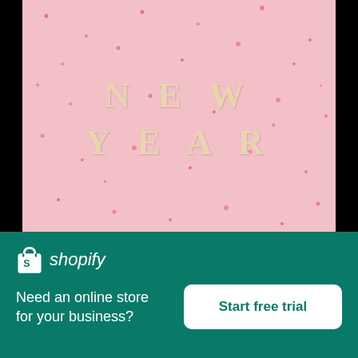[Figure (photo): Pink background with scattered red confetti dots and the words NEW YEAR spelled out in beige letter tiles arranged in two rows]
Happy New Year In Letters And Confetti
High resolution download ↓
[Figure (logo): Shopify logo with shopping bag icon and italic shopify text in white]
Need an online store for your business?
Start free trial